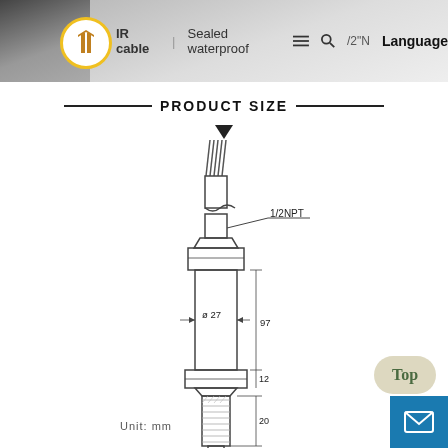IR cable   Sealed waterproof   1/2"NPT   Language
PRODUCT SIZE
[Figure (engineering-diagram): Technical/engineering drawing of a threaded sensor or probe with cable. Shows a cylindrical body with hexagonal nut sections, threaded probe end, and multi-wire cable at top. Labeled dimensions: Ø27 (diameter), 97 (length of main body), 12 (nut section), 20 (threaded probe length), 1/2NPT (thread type). Unit: mm.]
Unit: mm